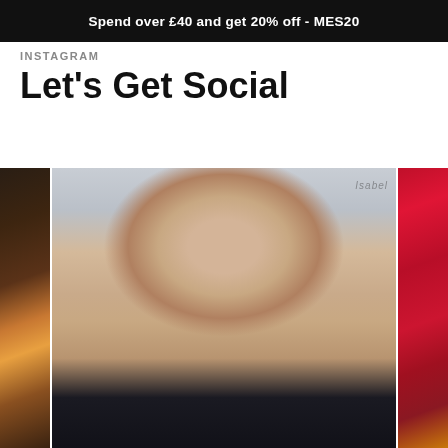Spend over £40 and get 20% off - MES20
INSTAGRAM
Let's Get Social
[Figure (photo): Three Instagram photos in a row: left shows a partial indoor candlelight scene, center shows a blonde woman with gray-blue eyes wearing dark lipstick and a black blazer taking a selfie, right shows a partial image of a woman with red flowers in her hair.]